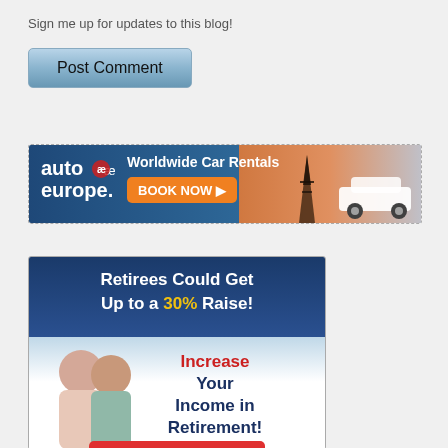Sign me up for updates to this blog!
[Figure (screenshot): Post Comment button - blue/grey gradient button]
[Figure (infographic): Auto Europe - Worldwide Car Rentals banner ad with Eiffel Tower and car image, BOOK NOW button]
[Figure (infographic): Retirement income ad: Retirees Could Get Up to a 30% Raise! Increase Your Income in Retirement! with photo of smiling older couple]